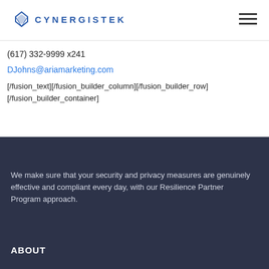[Figure (logo): CynergisTek logo with diamond shape and blue text]
(617) 332-9999 x241
DJohns@ariamarketing.com
[/fusion_text][/fusion_builder_column][/fusion_builder_row]
[/fusion_builder_container]
We make sure that your security and privacy measures are genuinely effective and compliant every day, with our Resilience Partner Program approach.
ABOUT